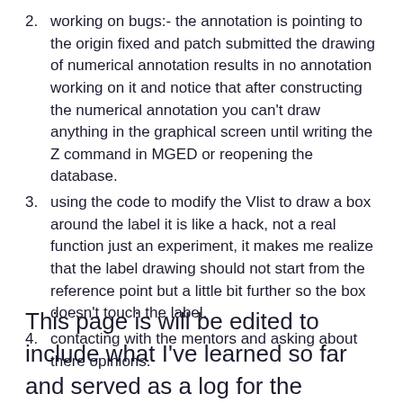2. working on bugs:- the annotation is pointing to the origin fixed and patch submitted the drawing of numerical annotation results in no annotation working on it and notice that after constructing the numerical annotation you can't draw anything in the graphical screen until writing the Z command in MGED or reopening the database.
3. using the code to modify the Vlist to draw a box around the label it is like a hack, not a real function just an experiment, it makes me realize that the label drawing should not start from the reference point but a little bit further so the box doesn't touch the label.
4. contacting with the mentors and asking about there opinions.
This page is will be edited to include what I've learned so far and served as a log for the